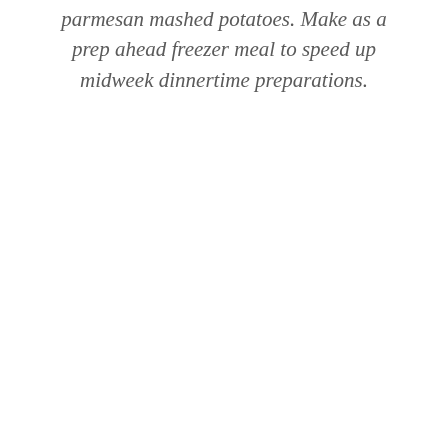parmesan mashed potatoes. Make as a prep ahead freezer meal to speed up midweek dinnertime preparations.